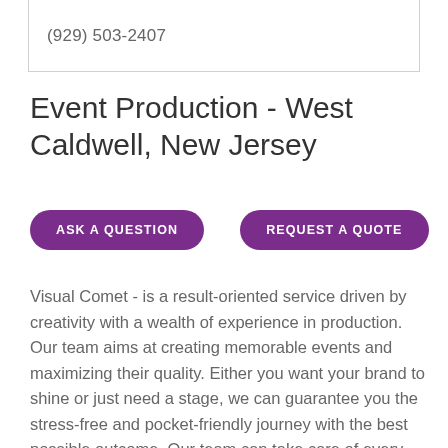(929) 503-2407
Event Production - West Caldwell, New Jersey
ASK A QUESTION
REQUEST A QUOTE
Visual Comet - is a result-oriented service driven by creativity with a wealth of experience in production. Our team aims at creating memorable events and maximizing their quality. Either you want your brand to shine or just need a stage, we can guarantee you the stress-free and pocket-friendly journey with the best possible outcome. Our team can take care of every event management aspect from pre-